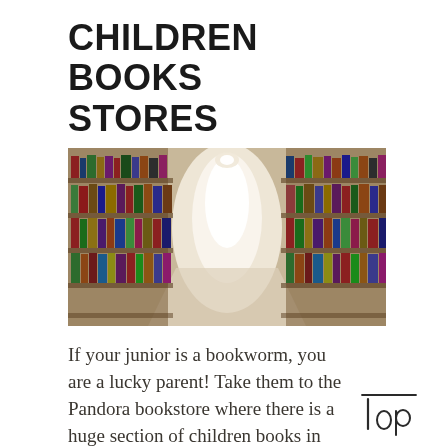CHILDREN BOOKS STORES
[Figure (photo): Blurred perspective view down an aisle of a bookstore or library with tall shelves filled with colorful books on both sides, bright light at the end of the aisle.]
If your junior is a bookworm, you are a lucky parent! Take them to the Pandora bookstore where there is a huge section of children books in English language. We